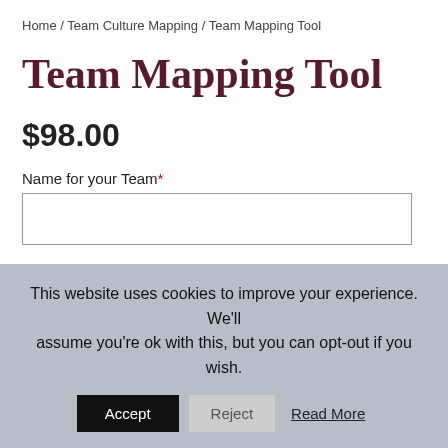Home / Team Culture Mapping / Team Mapping Tool
Team Mapping Tool
$98.00
Name for your Team*
Members in the Team*
This website uses cookies to improve your experience. We'll assume you're ok with this, but you can opt-out if you wish.